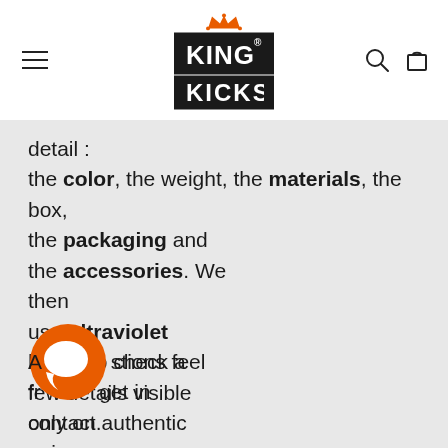King of Kicks logo with navigation menu, search, and cart icons
detail : the color, the weight, the materials, the box, the packaging and the accessories. We then use ultraviolet lights to check a few details visible only on authentic pairs.
Any questions feel free to get in contact.